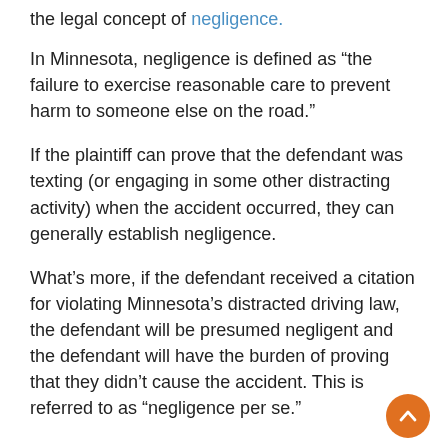the legal concept of negligence.
In Minnesota, negligence is defined as “the failure to exercise reasonable care to prevent harm to someone else on the road.”
If the plaintiff can prove that the defendant was texting (or engaging in some other distracting activity) when the accident occurred, they can generally establish negligence.
What’s more, if the defendant received a citation for violating Minnesota’s distracted driving law, the defendant will be presumed negligent and the defendant will have the burden of proving that they didn’t cause the accident. This is referred to as “negligence per se.”